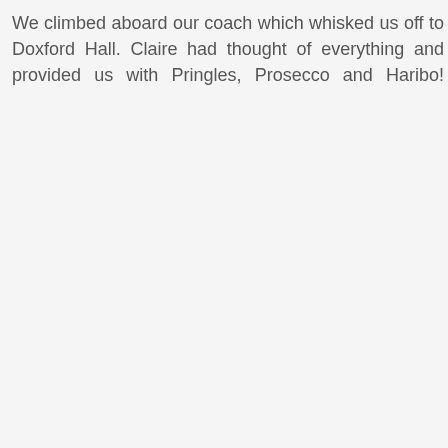We climbed aboard our coach which whisked us off to Doxford Hall. Claire had thought of everything and provided us with Pringles, Prosecco and Haribo! YUM!